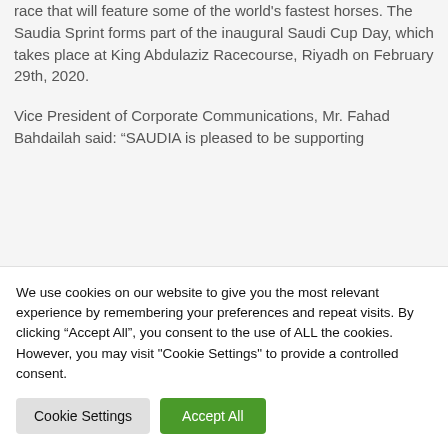race that will feature some of the world's fastest horses. The Saudia Sprint forms part of the inaugural Saudi Cup Day, which takes place at King Abdulaziz Racecourse, Riyadh on February 29th, 2020.
Vice President of Corporate Communications, Mr. Fahad Bahdailah said: “SAUDIA is pleased to be supporting
We use cookies on our website to give you the most relevant experience by remembering your preferences and repeat visits. By clicking “Accept All”, you consent to the use of ALL the cookies. However, you may visit "Cookie Settings" to provide a controlled consent.